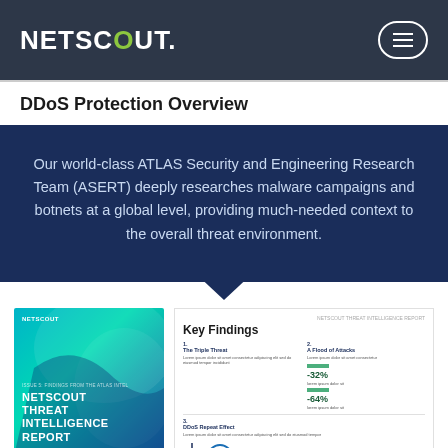[Figure (logo): NETSCOUT logo in white on dark navy background, with the O in green]
DDoS Protection Overview
Our world-class ATLAS Security and Engineering Research Team (ASERT) deeply researches malware campaigns and botnets at a global level, providing much-needed context to the overall threat environment.
[Figure (screenshot): Preview of NETSCOUT Threat Intelligence Report cover (blue-green gradient) alongside a 'Key Findings' page showing statistics including -32% and -64%]